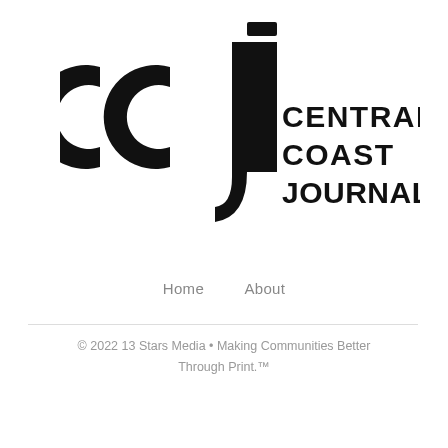[Figure (logo): Central Coast Journal logo: stylized 'ccj' letterforms in black followed by bold text 'CENTRAL COAST JOURNAL' in two columns]
Home   About
© 2022 13 Stars Media • Making Communities Better Through Print.™